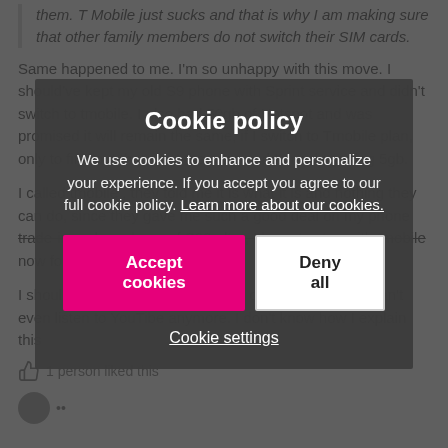them. T Mobile just sucks and that is why I am making sure that other family members do not switch their SIM cards.
Same happened to me. I'm so unhappy with this move. I should've kept my old S9 phone with Sprint service and didn't switch to tmobile. I also had 50gb of Hotspot and was promised it will remain the same, if I switch to Tmobile plan, only to find out that's not the case and I'm only getting 5gb.
I called tmobile , they told me it is what it is and nothing they can do, since they gave me such a good deal on my phone trade-in and purchase of S22 ultra, I have to stay with tmobile now for 2 yrs.
I should've kept my old phone and old service. Now I can't even listen to YouTibe anymore. I don't know how I explain this
1 person liked this
[Figure (other): Cookie policy consent dialog overlay with title 'Cookie policy', body text about cookies, Accept cookies button (pink/magenta), Deny all button (white), and Cookie settings link.]